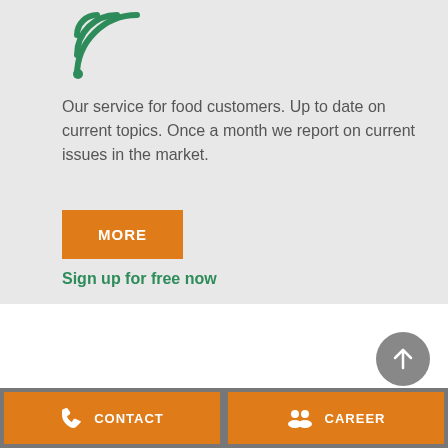[Figure (illustration): RSS / wifi signal icon in teal/green outline style]
Our service for food customers. Up to date on current topics. Once a month we report on current issues in the market.
MORE
Sign up for free now
[Figure (illustration): Scroll to top button with upward arrow on grey circular background]
CONTACT   CAREER